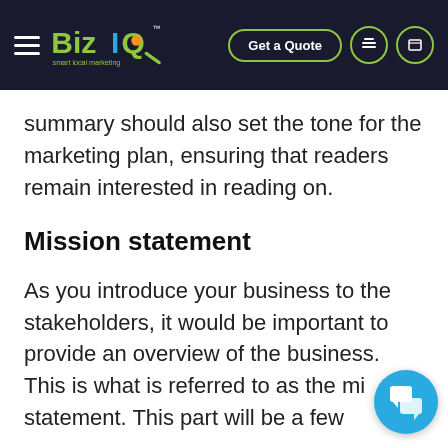BizIQ — smart local marketing | Get a Quote
summary should also set the tone for the marketing plan, ensuring that readers remain interested in reading on.
Mission statement
As you introduce your business to the stakeholders, it would be important to provide an overview of the business. This is what is referred to as the mission statement. This part will be a few